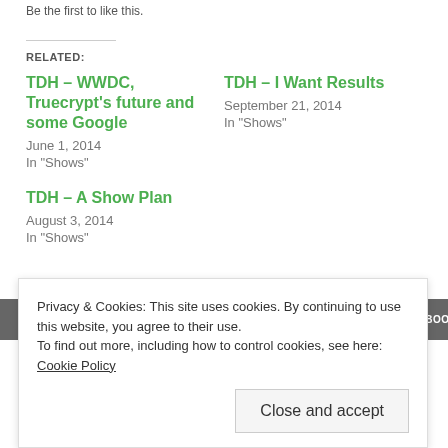Be the first to like this.
RELATED:
TDH – WWDC, Truecrypt's future and some Google
June 1, 2014
In "Shows"
TDH – I Want Results
September 21, 2014
In "Shows"
TDH – A Show Plan
August 3, 2014
In "Shows"
• APPLE • BROADBAND ACCESS • CLOUD • DYSON • FACEBOOK
Privacy & Cookies: This site uses cookies. By continuing to use this website, you agree to their use.
To find out more, including how to control cookies, see here: Cookie Policy
Close and accept